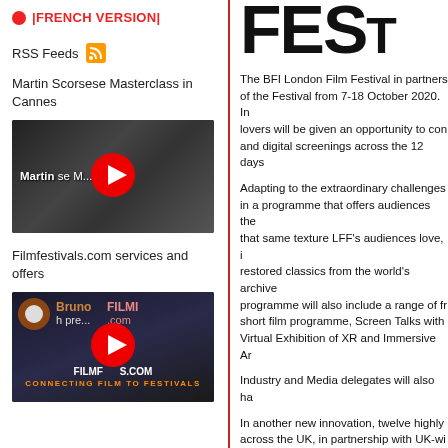|FRENCH VERSION|
RSS Feeds
Martin Scorsese Masterclass in Cannes
[Figure (screenshot): YouTube video thumbnail for Martin Scorsese Masterclass video with red play button]
Filmfestivals.com services and offers
[Figure (screenshot): YouTube video thumbnail for Bruno Filmfestivals.com preview with CONNECTING FILM TO FESTIVALS tagline]
The BFI London Film Festival in partnership of the Festival from 7-18 October 2020. In lovers will be given an opportunity to con and digital screenings across the 12 days
Adapting to the extraordinary challenges in a programme that offers audiences the that same texture LFF's audiences love, i restored classics from the world's archive programme will also include a range of fr short film programme, Screen Talks with Virtual Exhibition of XR and Immersive Ar
Industry and Media delegates will also ha
In another new innovation, twelve highly across the UK, in partnership with UK-wi for audiences all year long, including Lon
Tricia Tuttle, BFI London Film Festival Dir
“No year this momentous could beget a around the world, we’ve had to make c